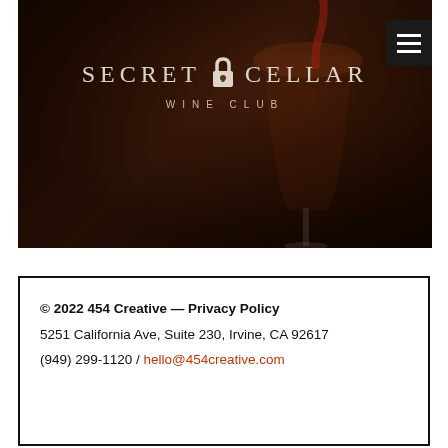[Figure (photo): Dark atmospheric photo of red wine being poured into a wine glass held by a hand, with another hand visible in the background, overlaid with the Secret Cellar Wine Club logo in white text and a padlock icon]
SECRET CELLAR WINE CLUB
© 2022 454 Creative — Privacy Policy
5251 California Ave, Suite 230, Irvine, CA 92617
(949) 299-1120 / hello@454creative.com